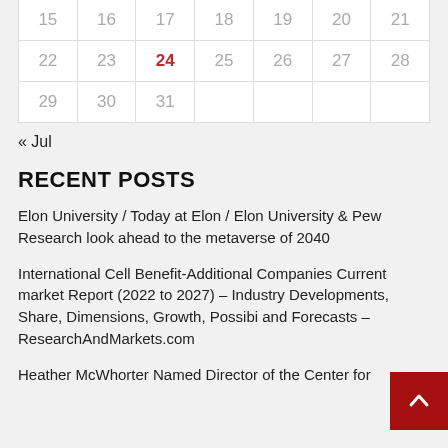| 15 | 16 | 17 | 18 | 19 | 20 | 21 |
| 22 | 23 | 24 | 25 | 26 | 27 | 28 |
| 29 | 30 | 31 |  |  |  |  |
« Jul
RECENT POSTS
Elon University / Today at Elon / Elon University & Pew Research look ahead to the metaverse of 2040
International Cell Benefit-Additional Companies Current market Report (2022 to 2027) – Industry Developments, Share, Dimensions, Growth, Possibilities and Forecasts – ResearchAndMarkets.com
Heather McWhorter Named Director of the Center for